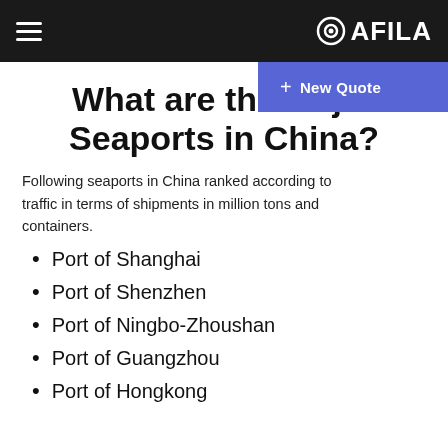QAFILA
What are the Major Seaports in China?
Following seaports in China ranked according to traffic in terms of shipments in million tons and containers.
Port of Shanghai
Port of Shenzhen
Port of Ningbo-Zhoushan
Port of Guangzhou
Port of Hongkong